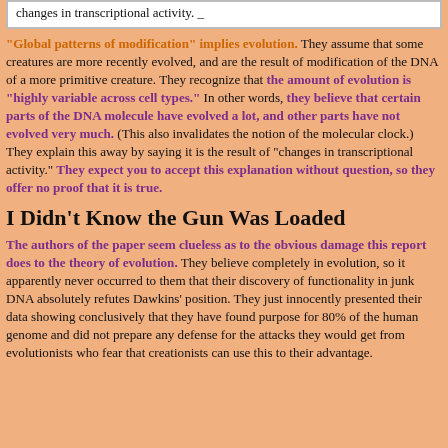changes in transcriptional activity.
"Global patterns of modification" implies evolution. They assume that some creatures are more recently evolved, and are the result of modification of the DNA of a more primitive creature. They recognize that the amount of evolution is "highly variable across cell types." In other words, they believe that certain parts of the DNA molecule have evolved a lot, and other parts have not evolved very much. (This also invalidates the notion of the molecular clock.) They explain this away by saying it is the result of "changes in transcriptional activity." They expect you to accept this explanation without question, so they offer no proof that it is true.
I Didn’t Know the Gun Was Loaded
The authors of the paper seem clueless as to the obvious damage this report does to the theory of evolution. They believe completely in evolution, so it apparently never occurred to them that their discovery of functionality in junk DNA absolutely refutes Dawkins’ position. They just innocently presented their data showing conclusively that they have found purpose for 80% of the human genome and did not prepare any defense for the attacks they would get from evolutionists who fear that creationists can use this to their advantage.